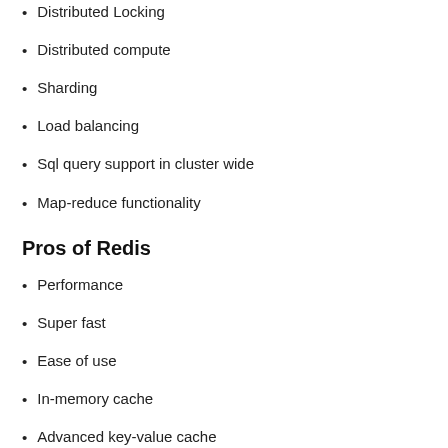Distributed Locking
Distributed compute
Sharding
Load balancing
Sql query support in cluster wide
Map-reduce functionality
Pros of Redis
Performance
Super fast
Ease of use
In-memory cache
Advanced key-value cache